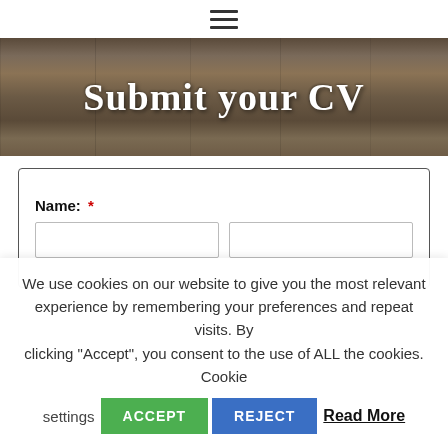[Figure (screenshot): Hamburger menu icon (three horizontal lines) centered at top of page]
Submit your CV
Name: *
We use cookies on our website to give you the most relevant experience by remembering your preferences and repeat visits. By clicking "Accept", you consent to the use of ALL the cookies. Cookie settings ACCEPT REJECT Read More